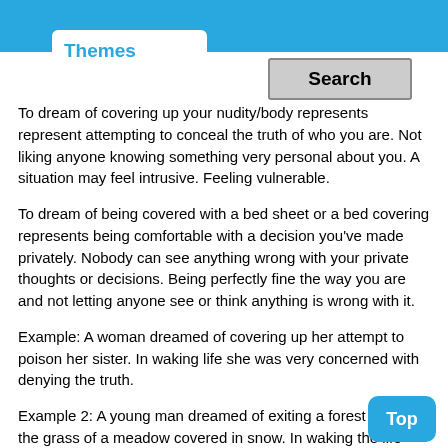Themes
To dream of covering up your nudity/body represents represent attempting to conceal the truth of who you are. Not liking anyone knowing something very personal about you. A situation may feel intrusive. Feeling vulnerable.
To dream of being covered with a bed sheet or a bed covering represents being comfortable with a decision you've made privately. Nobody can see anything wrong with your private thoughts or decisions. Being perfectly fine the way you are and not letting anyone see or think anything is wrong with it.
Example: A woman dreamed of covering up her attempt to poison her sister. In waking life she was very concerned with denying the truth.
Example 2: A young man dreamed of exiting a forest to see the grass of a meadow covered in snow. In waking the life dreamer had to go to